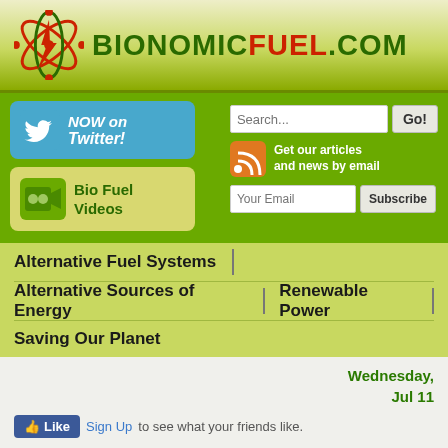BIONOMICFUEL.COM
[Figure (screenshot): Twitter NOW on Twitter! button with blue bird icon]
[Figure (screenshot): Bio Fuel Videos button with camera icon]
Search... Go!
Get our articles and news by email Your Email Subscribe
Alternative Fuel Systems
Alternative Sources of Energy
Renewable Power
Saving Our Planet
Wednesday, Jul 11
Like Sign Up to see what your friends like.
Pennsylvania's Act 13 has been